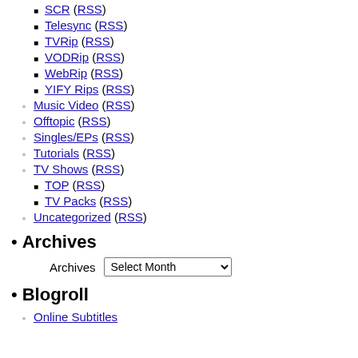SCR (RSS)
Telesync (RSS)
TVRip (RSS)
VODRip (RSS)
WebRip (RSS)
YIFY Rips (RSS)
Music Video (RSS)
Offtopic (RSS)
Singles/EPs (RSS)
Tutorials (RSS)
TV Shows (RSS)
TOP (RSS)
TV Packs (RSS)
Uncategorized (RSS)
Archives
Archives  Select Month
Blogroll
Online Subtitles